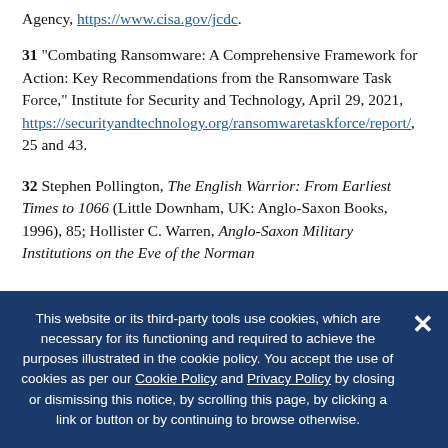Agency, https://www.cisa.gov/jcdc.
31 “Combating Ransomware: A Comprehensive Framework for Action: Key Recommendations from the Ransomware Task Force,” Institute for Security and Technology, April 29, 2021, https://securityandtechnology.org/ransomwaretaskforce/report/, 25 and 43.
32 Stephen Pollington, The English Warrior: From Earliest Times to 1066 (Little Downham, UK: Anglo-Saxon Books, 1996), 85; Hollister C. Warren, Anglo-Saxon Military Institutions on the Eve of the Norman
This website or its third-party tools use cookies, which are necessary for its functioning and required to achieve the purposes illustrated in the cookie policy. You accept the use of cookies as per our Cookie Policy and Privacy Policy by closing or dismissing this notice, by scrolling this page, by clicking a link or button or by continuing to browse otherwise.